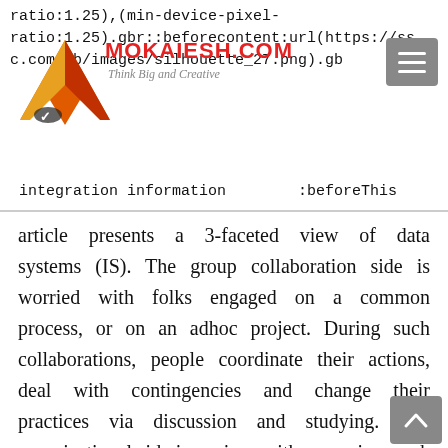ratio:1.25),(min-device-pixel-ratio:1.25).gbr::beforecontent:url(https://ss[...].com/gb/images/silhouette_27.png).gb[...] integration information :beforeThis
article presents a 3-faceted view of data systems (IS). The group collaboration side is worried with folks engaged on a common process, or on an adhoc project. During such collaborations, people coordinate their actions, deal with contingencies and change their practices via discussion and studying. The organizational side is anxious with managing work from a formal organizational perspective. Beyond database integration, Oracle Streams Advanced Queuing supplies many features that make it probably the most strong and have rich